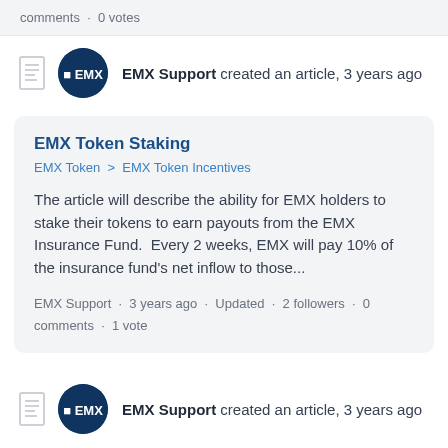comments · 0 votes
EMX Support created an article, 3 years ago
EMX Token Staking
EMX Token > EMX Token Incentives
The article will describe the ability for EMX holders to stake their tokens to earn payouts from the EMX Insurance Fund.  Every 2 weeks, EMX will pay 10% of the insurance fund's net inflow to those...
EMX Support · 3 years ago · Updated · 2 followers · 0 comments · 1 vote
EMX Support created an article, 3 years ago